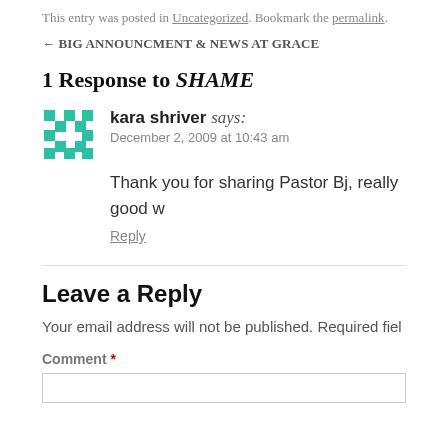This entry was posted in Uncategorized. Bookmark the permalink.
← BIG ANNOUNCMENT & NEWS AT GRACE
1 Response to SHAME
kara shriver says:
December 2, 2009 at 10:43 am
Thank you for sharing Pastor Bj, really good w
Reply
Leave a Reply
Your email address will not be published. Required fiel
Comment *